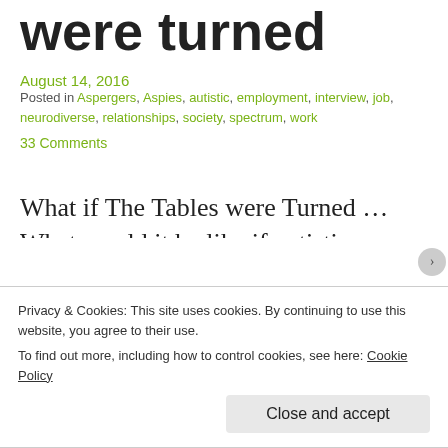were turned
August 14, 2016
Posted in Aspergers, Aspies, autistic, employment, interview, job, neurodiverse, relationships, society, spectrum, work
33 Comments
What if The Tables were Turned … What would it be like if autistics were the founders, owners, leaders, managers, and supervisors in most businesses in the world? And we told the non-
Privacy & Cookies: This site uses cookies. By continuing to use this website, you agree to their use.
To find out more, including how to control cookies, see here: Cookie Policy